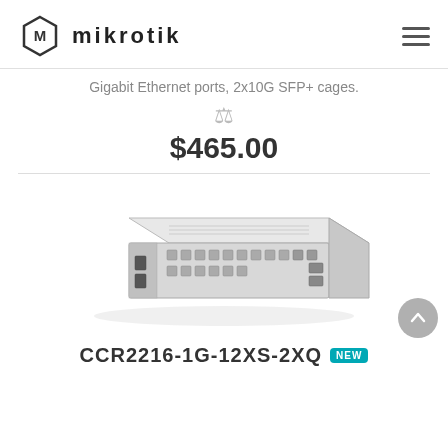MikroTik
Gigabit Ethernet ports, 2x10G SFP+ cages.
$465.00
[Figure (photo): MikroTik network switch hardware product photo, 1U rack-mount chassis with SFP+ ports and Ethernet ports, light gray color]
CCR2216-1G-12XS-2XQ NEW